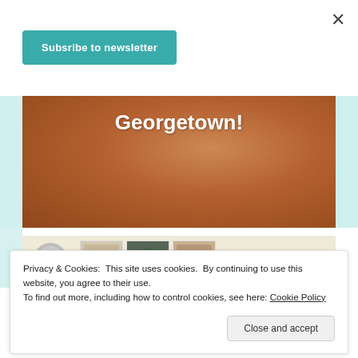×
Subsribe to newsletter
[Figure (photo): Brown textured background image with white bold text reading 'Georgetown!']
[Figure (photo): Partial preview area with cream background, circular icon, and food/recipe photos]
Privacy & Cookies: This site uses cookies. By continuing to use this website, you agree to their use.
To find out more, including how to control cookies, see here: Cookie Policy
Close and accept